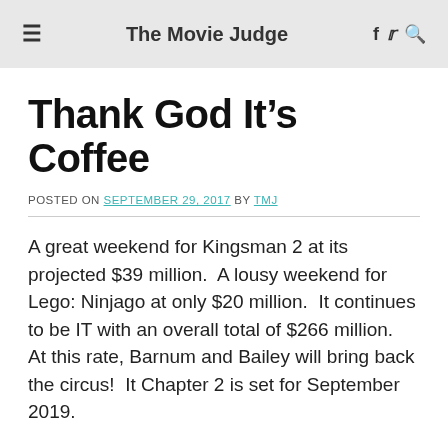The Movie Judge
Thank God It’s Coffee
POSTED ON SEPTEMBER 29, 2017 BY TMJ
A great weekend for Kingsman 2 at its projected $39 million.  A lousy weekend for Lego: Ninjago at only $20 million.  It continues to be IT with an overall total of $266 million.  At this rate, Barnum and Bailey will bring back the circus!  It Chapter 2 is set for September 2019.
In case you haven’t heard, Leonardo DiCaprio and Martin Scorcese are teaming up yet again to make a movie about Teddy Roosevelt.  This will be their sixth movie together.  No production details or release dates are